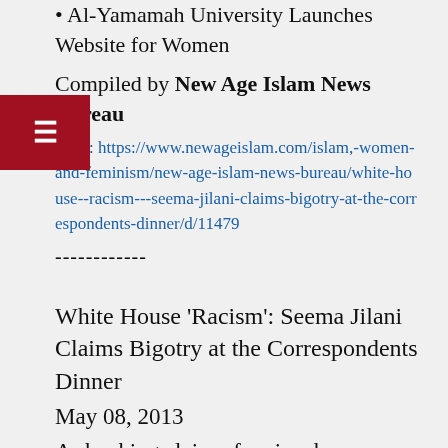• Al-Yamamah University Launches Website for Women
Compiled by New Age Islam News Bureau
URL: https://www.newageislam.com/islam,-women-and-feminism/new-age-islam-news-bureau/white-house--racism---seema-jilani-claims-bigotry-at-the-correspondents-dinner/d/11479
------------
White House 'Racism': Seema Jilani Claims Bigotry at the Correspondents Dinner
May 08, 2013
A shocking claim of racism has come out of the White House Correspondents Dinner. Seema Jilani, who is Muslim, has written about the